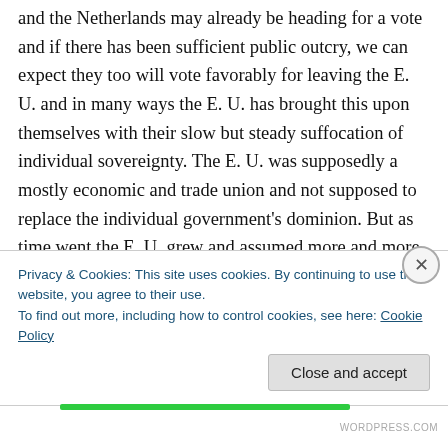and the Netherlands may already be heading for a vote and if there has been sufficient public outcry, we can expect they too will vote favorably for leaving the E. U. and in many ways the E. U. has brought this upon themselves with their slow but steady suffocation of individual sovereignty. The E. U. was supposedly a mostly economic and trade union and not supposed to replace the individual government's dominion. But as time went the E. U. grew and assumed more and more power taking these decisions from the individual governments and supplanting
Privacy & Cookies: This site uses cookies. By continuing to use this website, you agree to their use.
To find out more, including how to control cookies, see here: Cookie Policy
Close and accept